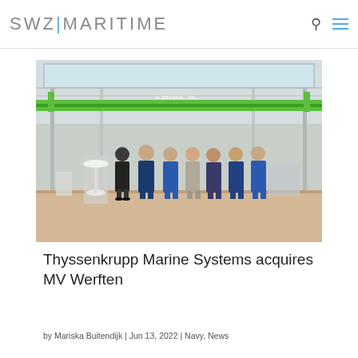SWZ|MARITIME
[Figure (photo): Group of seven people standing inside a large industrial shipyard/manufacturing hall with a green overhead crane. The hall has a high roof with skylights and metal structure.]
Thyssenkrupp Marine Systems acquires MV Werften
by Mariska Buitendijk | Jun 13, 2022 | Navy, News